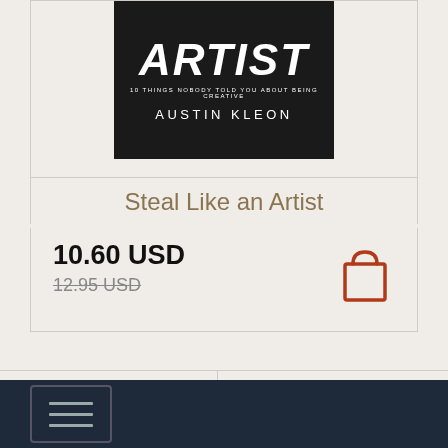[Figure (photo): Book cover of 'Steal Like an Artist' by Austin Kleon — black background with white hand-lettered text: 'ARTIST' large, subtitle '10 THINGS NOBODY TOLD YOU ABOUT BEING CREATIVE', and 'AUSTIN KLEON' below]
Steal Like an Artist
10.60 USD
12.95 USD (strikethrough)
ng worldwide
n order required.
In stock only
Order from Book Depository U
[Figure (other): Hamburger menu icon (three horizontal lines) in a rounded rectangle, on dark navy footer bar]